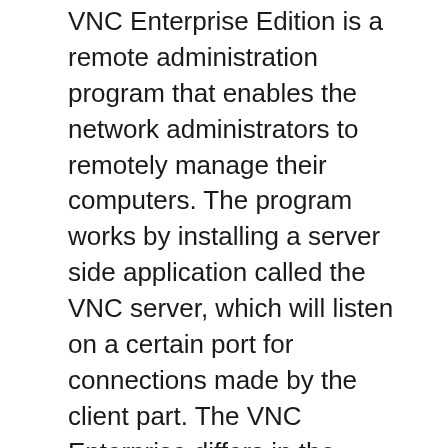VNC Enterprise Edition is a remote administration program that enables the network administrators to remotely manage their computers. The program works by installing a server side application called the VNC server, which will listen on a certain port for connections made by the client part. The VNC Enterprise differs in the following aspects – The server and client are compatible with all operating systems such as all Microsoft Windows versions, including Vista and Server 2008. Linux and Mac OS, better security due to the utilization of 2048-bit RSA keys and the ability to set long complex passwords of up to 256 characters. Moreover, the user can also utilize the built-in operating system's authentication.
The Enterprise Edition also supports the